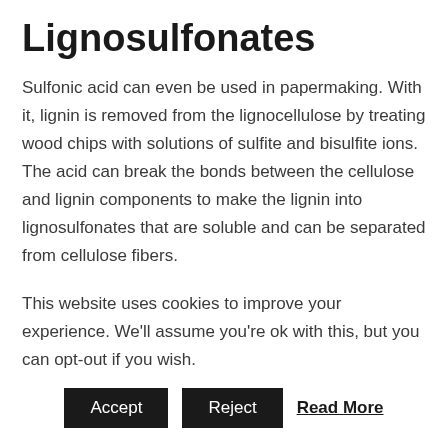Lignosulfonates
Sulfonic acid can even be used in papermaking. With it, lignin is removed from the lignocellulose by treating wood chips with solutions of sulfite and bisulfite ions. The acid can break the bonds between the cellulose and lignin components to make the lignin into lignosulfonates that are soluble and can be separated from cellulose fibers.
Pharmaceuticals
If you have allergies or have ever had a nasty cough, you
This website uses cookies to improve your experience. We'll assume you're ok with this, but you can opt-out if you wish.
Accept   Reject   Read More